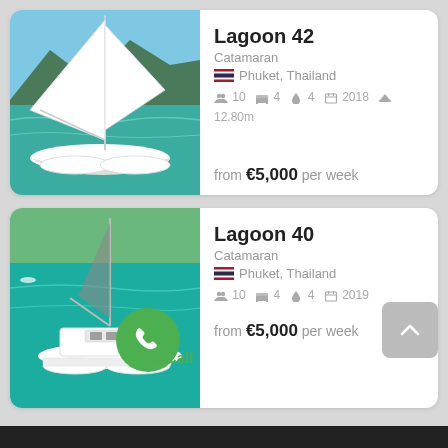[Figure (photo): Lagoon 42 catamaran sailing on turquoise water with limestone mountains in background, Phuket Thailand]
Lagoon 42
Catamaran
Phuket, Thailand
10 guests  4 cabins  4 bathrooms  2018  12.80m
from €5,000 per week
[Figure (photo): Lagoon 40 catamaran aerial view on bright green-blue water, Phuket Thailand]
Lagoon 40
Catamaran
Phuket, Thailand
10 guests  4 cabins  4 bathrooms  2019
from €5,000 per week
Free Call